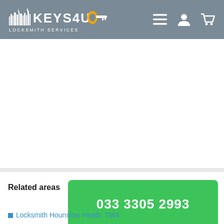[Figure (logo): Keys4U Locksmith Services logo with skyline silhouette and key icon on grey header background, with hamburger menu, user icon, and cart icon on the right]
Related areas
033 3305 2993
Locksmith Hounslow Heath, TW4